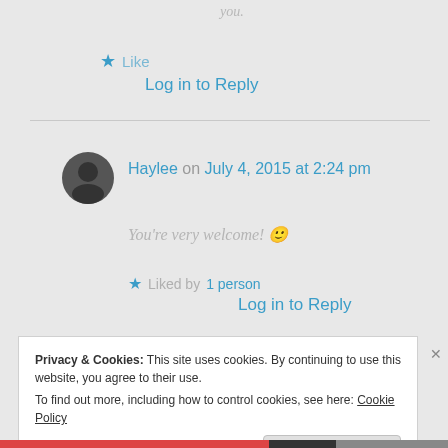you.
★ Like
Log in to Reply
Haylee on July 4, 2015 at 2:24 pm
You're very welcome! 🙂
★ Liked by 1 person
Log in to Reply
Privacy & Cookies: This site uses cookies. By continuing to use this website, you agree to their use.
To find out more, including how to control cookies, see here: Cookie Policy
Close and accept